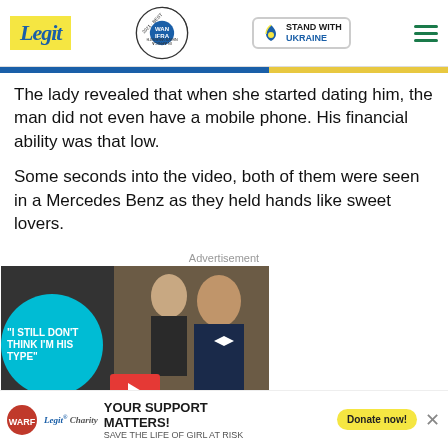Legit | WAN-IFRA 2021 Best News Website in Africa | Stand with Ukraine
The lady revealed that when she started dating him, the man did not even have a mobile phone. His financial ability was that low.
Some seconds into the video, both of them were seen in a Mercedes Benz as they held hands like sweet lovers.
Advertisement
[Figure (screenshot): Video advertisement showing a couple, with overlay text 'I STILL DON'T THINK I'M HIS TYPE' on a teal circle, red play button at bottom, and close X button]
[Figure (infographic): Legit Charity banner: YOUR SUPPORT MATTERS! SAVE THE LIFE OF GIRL AT RISK, with Donate now! button]